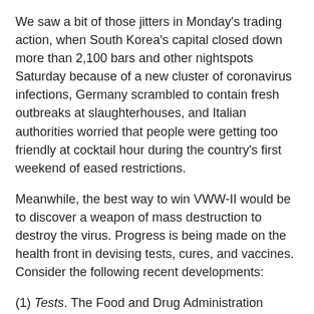We saw a bit of those jitters in Monday's trading action, when South Korea's capital closed down more than 2,100 bars and other nightspots Saturday because of a new cluster of coronavirus infections, Germany scrambled to contain fresh outbreaks at slaughterhouses, and Italian authorities worried that people were getting too friendly at cocktail hour during the country's first weekend of eased restrictions.
Meanwhile, the best way to win VWW-II would be to discover a weapon of mass destruction to destroy the virus. Progress is being made on the health front in devising tests, cures, and vaccines. Consider the following recent developments:
(1) Tests. The Food and Drug Administration (FDA) granted emergency-use authorization for Abbott Laboratories' new coronavirus test that detects COVID-19 antibodies, the company announced Monday. Abbott plans to ship nearly 30 million tests—which can indicate whether a person has had COVID-19 in the past and was either asymptomatic or recovered—in May and will have the capacity to ship 60 million tests in June, the company announced in a press